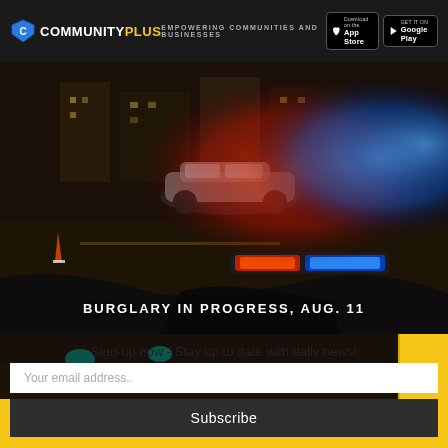CommunityPlus — Empowering communities and businesses
[Figure (photo): Police car with red and blue flashing lights at night, another car visible in background]
BURGLARY IN PROGRESS, AUG. 11
[Figure (photo): Second night scene photo strip, partially visible]
Sign-up now - Stay up to date with daily news!
Your email address..
Subscribe